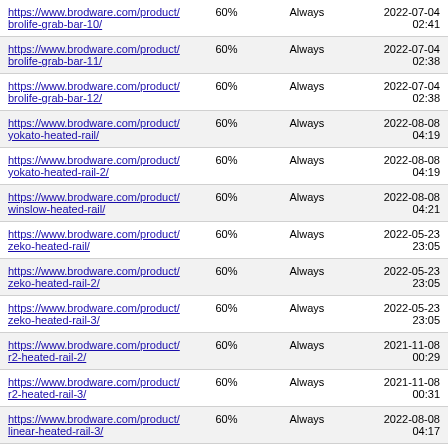| https://www.brodware.com/product/brolife-grab-bar-10/ | 60% | Always | 2022-07-04 02:41 |
| https://www.brodware.com/product/brolife-grab-bar-11/ | 60% | Always | 2022-07-04 02:38 |
| https://www.brodware.com/product/brolife-grab-bar-12/ | 60% | Always | 2022-07-04 02:38 |
| https://www.brodware.com/product/yokato-heated-rail/ | 60% | Always | 2022-08-08 04:19 |
| https://www.brodware.com/product/yokato-heated-rail-2/ | 60% | Always | 2022-08-08 04:19 |
| https://www.brodware.com/product/winslow-heated-rail/ | 60% | Always | 2022-08-08 04:21 |
| https://www.brodware.com/product/zeko-heated-rail/ | 60% | Always | 2022-05-23 23:05 |
| https://www.brodware.com/product/zeko-heated-rail-2/ | 60% | Always | 2022-05-23 23:05 |
| https://www.brodware.com/product/zeko-heated-rail-3/ | 60% | Always | 2022-05-23 23:05 |
| https://www.brodware.com/product/r2-heated-rail-2/ | 60% | Always | 2021-11-08 00:29 |
| https://www.brodware.com/product/r2-heated-rail-3/ | 60% | Always | 2021-11-08 00:31 |
| https://www.brodware.com/product/linear-heated-rail-3/ | 60% | Always | 2022-08-08 04:17 |
| https://www.brodware.com/product/linear-... | 60% | Always | 2022-08-08 |